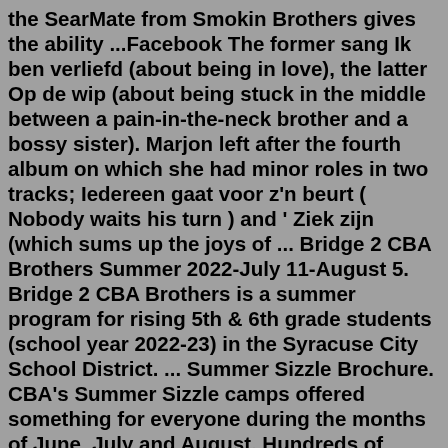the SearMate from Smokin Brothers gives the ability ...Facebook The former sang Ik ben verliefd (about being in love), the latter Op de wip (about being stuck in the middle between a pain-in-the-neck brother and a bossy sister). Marjon left after the fourth album on which she had minor roles in two tracks; Iedereen gaat voor z'n beurt ( Nobody waits his turn ) and ' Ziek zijn (which sums up the joys of ... Bridge 2 CBA Brothers Summer 2022-July 11-August 5. Bridge 2 CBA Brothers is a summer program for rising 5th & 6th grade students (school year 2022-23) in the Syracuse City School District. ... Summer Sizzle Brochure. CBA's Summer Sizzle camps offered something for everyone during the months of June, July and August. Hundreds of students from ...Brother Vs. Brother; Buy It or Build It; Celebrity I.O.U. Cheap Old Houses; Christina on the Coast; Design Star: Next Gen; Fixer to Fabulous; Flip or Flop; Flipping 101; Good Bones; Help! I Wrecked My House; Home Town; Lil Jon Wants to Do What? Love It... List It; Married to Real Estate; Mash Up O...